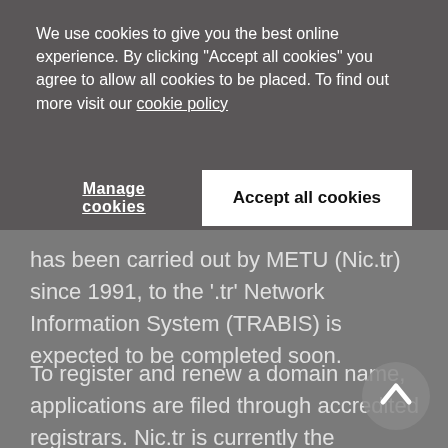We use cookies to give you the best online experience. By clicking "Accept all cookies" you agree to allow all cookies to be placed. To find out more visit our cookie policy
Manage cookies
Accept all cookies
has been carried out by METU (Nic.tr) since 1991, to the '.tr' Network Information System (TRABIS) is expected to be completed soon.
To register and renew a domain name, applications are filed through accredited registrars. Nic.tr is currently the authorised body to handle domain name disputes arising from ccTLDs.
After the transfer to TRABIS is completed, the